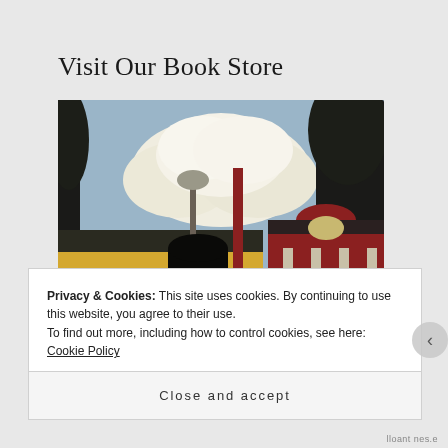Visit Our Book Store
[Figure (illustration): Painting of city street storefronts — yellow and red-brick buildings with columns and arched windows, a street lamp, dark silhouetted figures, and large white clouds against a blue-grey sky.]
Privacy & Cookies: This site uses cookies. By continuing to use this website, you agree to their use.
To find out more, including how to control cookies, see here: Cookie Policy
Close and accept